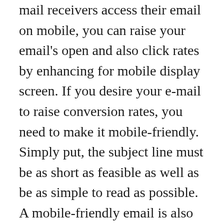mail receivers access their email on mobile, you can raise your email's open and also click rates by enhancing for mobile display screen. If you desire your e-mail to raise conversion rates, you need to make it mobile-friendly. Simply put, the subject line must be as short as feasible as well as be as simple to read as possible. A mobile-friendly email is also more probable to convert. In addition to that, you need to make sure it's mobile-friendly which the CTA is the primary call-to-action in your project. You can additionally enhance your CTAs by enhancing your e-mails for mobile. You need to compare your e-mail conversion rates with industry standards. You can make use of the typical conversion rate of various